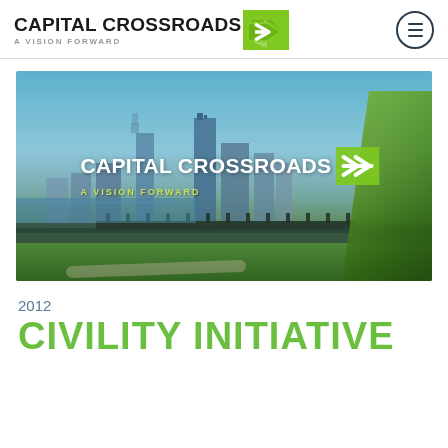[Figure (logo): Capital Crossroads A Vision Forward logo with green arrow]
[Figure (photo): Hero banner photo of a city skyline (Des Moines, Iowa) with river and green park in foreground, overlaid with Capital Crossroads A Vision Forward logo in white and green]
2012
CIVILITY INITIATIVE